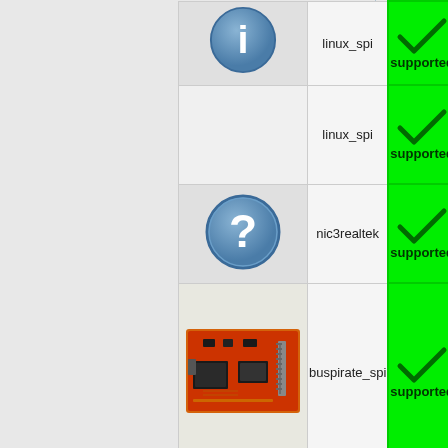| Icon | Driver | Status |
| --- | --- | --- |
| [info icon] | linux_spi | supported |
| [info icon] | linux_spi | supported |
| [question icon] | nic3realtek | supported |
| [buspirate photo] | buspirate_spi | supported |
| [question icon] | rayer_spi | supported |